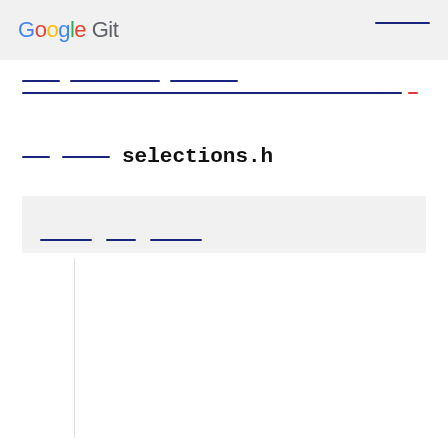Google Git
[breadcrumb navigation links]
selections.h
[toolbar with navigation links]
[Figure (screenshot): Code viewer area with line numbers column on left and empty code content area on right]